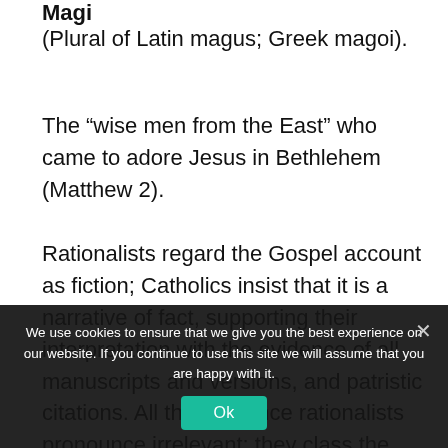Magi
(Plural of Latin magus; Greek magoi).
The “wise men from the East” who came to adore Jesus in Bethlehem (Matthew 2).
Rationalists regard the Gospel account as fiction; Catholics insist that it is a narrative of fact, supporting their interpretation with the evidence of all manuscripts and versions, and patristic citations. All this evidence rationalists pronounce irrelevant; they class the story of the Magi with the so-called
We use cookies to ensure that we give you the best experience on our website. If you continue to use this site we will assume that you are happy with it.